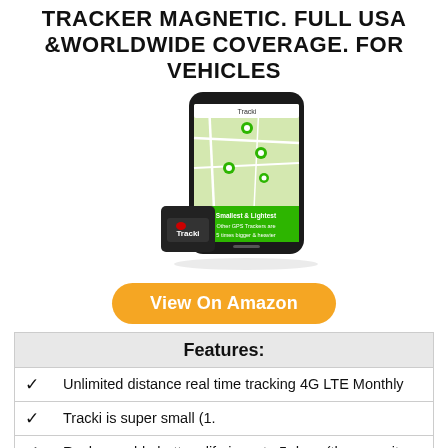TRACKER MAGNETIC. FULL USA &WORLDWIDE COVERAGE. FOR VEHICLES
[Figure (photo): Product photo of Tracki GPS tracker device (small black cube) alongside a smartphone displaying the Tracki app showing a map with green location markers. A green banner on the phone screen reads 'Smallest & Lightest Other GPS Trackers are 5 times bigger & heavier'. The Tracki device logo is visible on the tracker.]
View On Amazon
| Features: |
| --- |
| ✓ | Unlimited distance real time tracking 4G LTE Monthly |
| ✓ | Tracki is super small (1. |
| ✓ | Rechargeable battery life is up to 5 days (the more it |
| ✓ | Works with GPS satellites when outdoors as primary |
| ✓ | Lifetime warranty including lost or damaged device. |